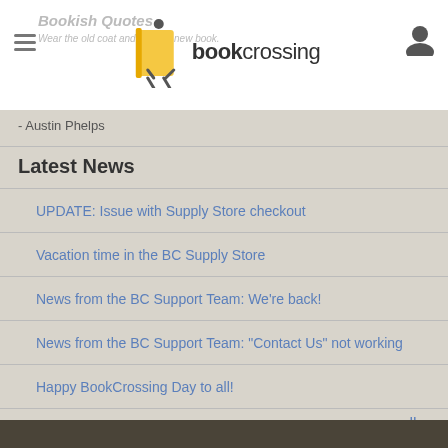bookcrossing
Bookish Quotes
Wear the old coat and buy the new book.
- Austin Phelps
Latest News
UPDATE: Issue with Supply Store checkout
Vacation time in the BC Supply Store
News from the BC Support Team: We're back!
News from the BC Support Team: "Contact Us" not working
Happy BookCrossing Day to all!
see all...